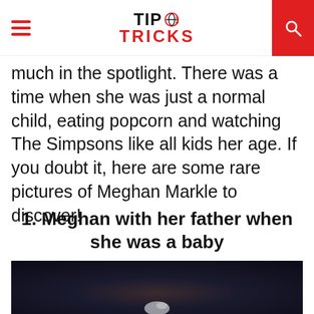TIP TRICKS
much in the spotlight. There was a time when she was just a normal child, eating popcorn and watching The Simpsons like all kids her age. If you doubt it, here are some rare pictures of Meghan Markle to discover!
1. Meghan with her father when she was a baby
[Figure (photo): Dark photograph showing a person with a baby, dimly lit scene]